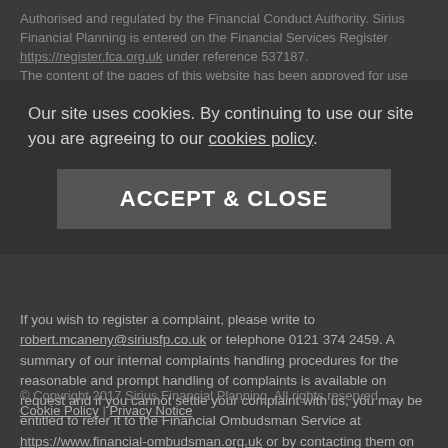Authorised and regulated by the Financial Conduct Authority. Sirius Financial Planning is entered on the Financial Services Register https://register.fca.org.uk under reference 537187. The content of this website has been approved for use within this website is subject to the UK regulatory regime, and is therefore primarily targeted to customers in the UK.
Our site uses cookies. By continuing to use our site you are agreeing to our cookies policy.
ACCEPT & CLOSE
If you wish to register a complaint, please write to robert.mcaneny@siriusfp.co.uk or telephone 0121 374 2459. A summary of our internal complaints handling procedures for the reasonable and prompt handling of complaints is available on request and if you cannot settle your complaint with us, you may be entitled to refer it to the Financial Ombudsman Service at https://www.financial-ombudsman.org.uk or by contacting them on 0800 0234 567.
© Copyright 2017 Sirius Financial Planning. All rights reserved. Cookie Policy | Privacy Notice